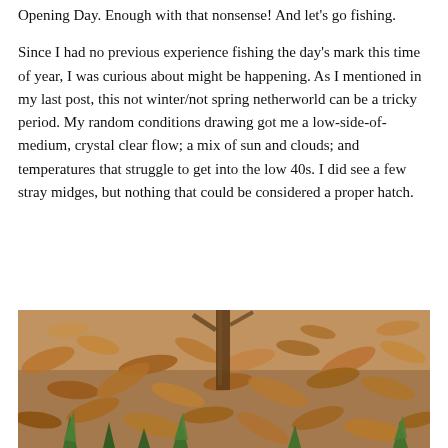Opening Day. Enough with that nonsense! And let's go fishing.
Since I had no previous experience fishing the day's mark this time of year, I was curious about might be happening. As I mentioned in my last post, this not winter/not spring netherworld can be a tricky period. My random conditions drawing got me a low-side-of-medium, crystal clear flow; a mix of sun and clouds; and temperatures that struggle to get into the low 40s. I did see a few stray midges, but nothing that could be considered a proper hatch.
[Figure (photo): Ground-level photograph of a forest floor covered with brown dried leaves and small green plant shoots emerging from the leaf litter, with a thin tree trunk visible in the background.]